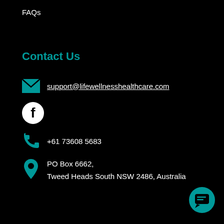FAQs
Contact Us
support@lifewellnesshealthcare.com
[Figure (logo): Facebook icon - white Facebook 'f' on white circle with black background]
+61 73608 5683
PO Box 6662,
Tweed Heads South NSW 2486, Australia
[Figure (other): Teal circular chat/message bubble button in bottom right corner]